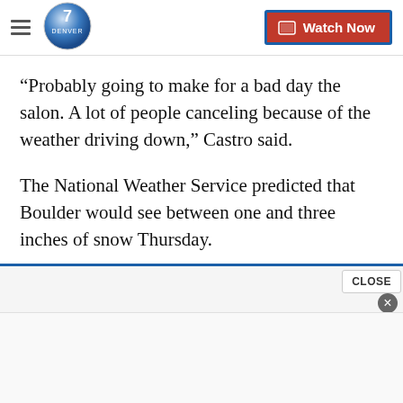Denver 7 — Watch Now
“Probably going to make for a bad day the salon. A lot of people canceling because of the weather driving down,” Castro said.
The National Weather Service predicted that Boulder would see between one and three inches of snow Thursday.
Copyright 2017 Scripps Media, Inc. All rights reserved. This material may not be published, broadcast, rewritten, or redistributed.